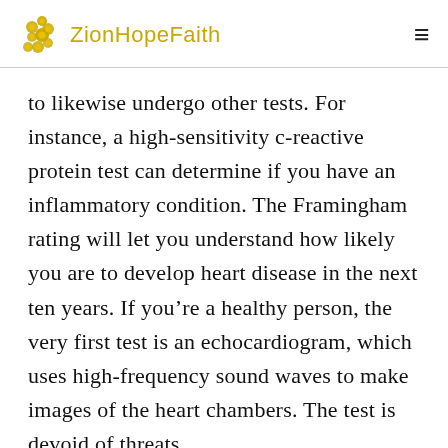ZionHopeFaith
to likewise undergo other tests. For instance, a high-sensitivity c-reactive protein test can determine if you have an inflammatory condition. The Framingham rating will let you understand how likely you are to develop heart disease in the next ten years. If you’re a healthy person, the very first test is an echocardiogram, which uses high-frequency sound waves to make images of the heart chambers. The test is devoid of threats.